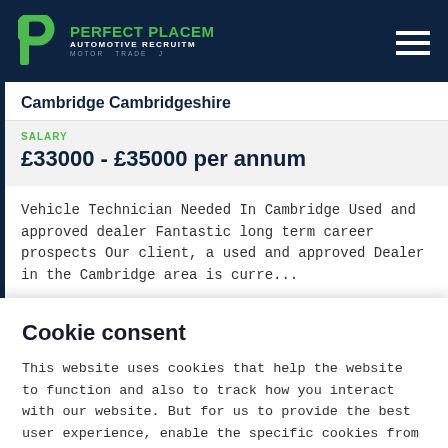PERFECT PLACEMENT AUTOMOTIVE RECRUITMENT MOTOR TRADE JOBS
Cambridge Cambridgeshire
SALARY
£33000 - £35000 per annum
Vehicle Technician Needed In Cambridge Used and approved dealer Fantastic long term career prospects Our client, a used and approved Dealer in the Cambridge area is curre...
Cookie consent
This website uses cookies that help the website to function and also to track how you interact with our website. But for us to provide the best user experience, enable the specific cookies from Settings, and click on Accept.
Preferences ∨   Reject All   Accept All